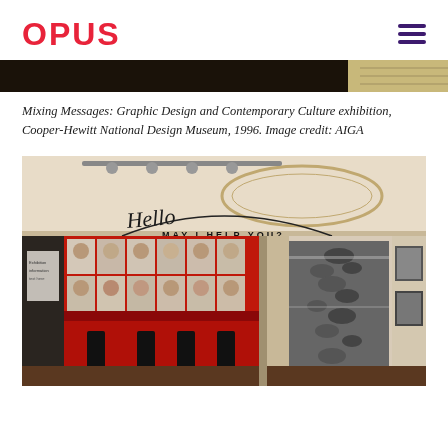OPUS
[Figure (photo): Top partial view of the Mixing Messages exhibition at Cooper-Hewitt National Design Museum, 1996 — dark interior with warm-toned accent panel on right]
Mixing Messages: Graphic Design and Contemporary Culture exhibition, Cooper-Hewitt National Design Museum, 1996. Image credit: AIGA
[Figure (photo): Interior view of the Mixing Messages exhibition: red wall with grid of portrait photographs of women, vintage wall-mounted telephones below, text 'Hello MAY I HELP YOU?' arched overhead, and a large black-and-white photomural on the right side showing a crowded scene, ornate ceiling and architectural details visible]